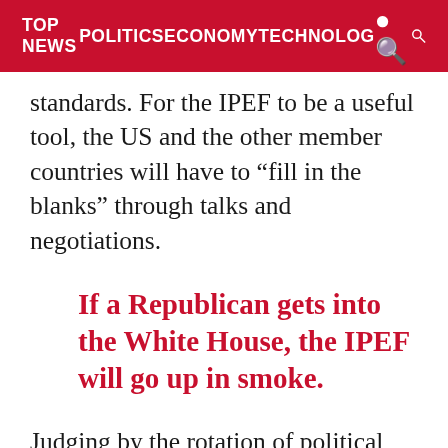TOP NEWS   POLITICS   ECONOMY   TECHNOLOG
standards. For the IPEF to be a useful tool, the US and the other member countries will have to “fill in the blanks” through talks and negotiations.
If a Republican gets into the White House, the IPEF will go up in smoke.
Judging by the rotation of political parties in the US, it will be difficult to push through the IPEF, unless Biden gets a second term and the